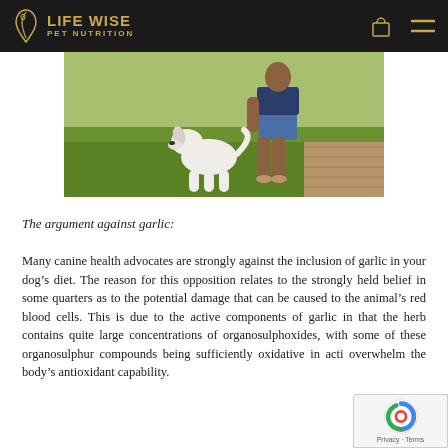Life Wise Pet Nutrition
[Figure (photo): A person crouching on grass with a white dog, outdoors on a sunny day near a wooden deck.]
The argument against garlic:
Many canine health advocates are strongly against the inclusion of garlic in your dog’s diet. The reason for this opposition relates to the strongly held belief in some quarters as to the potential damage that can be caused to the animal’s red blood cells. This is due to the active components of garlic in that the herb contains quite large concentrations of organosulphoxides, with some of these organosulphur compounds being sufficiently oxidative in acti overwhelm the body’s antioxidant capability.